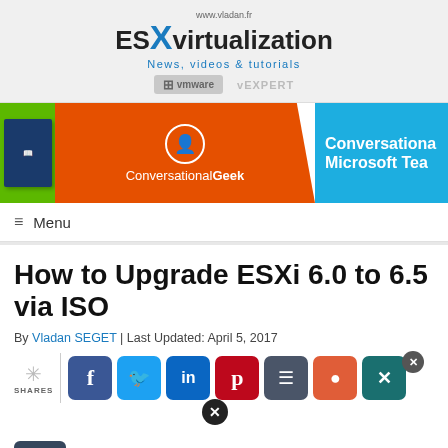www.vladan.fr ESXvirtualization — News, videos & tutorials — vmware vEXPERT
[Figure (infographic): ConversationalGeek advertisement banner with orange, green and blue sections showing book and logo for Conversational Microsoft Teams]
≡ Menu
How to Upgrade ESXi 6.0 to 6.5 via ISO
By Vladan SEGET | Last Updated: April 5, 2017
[Figure (infographic): Social share buttons row: SHARES icon, divider, Facebook, Twitter, LinkedIn, Pinterest, Buffer, Reddit, Xing buttons, with close X badges]